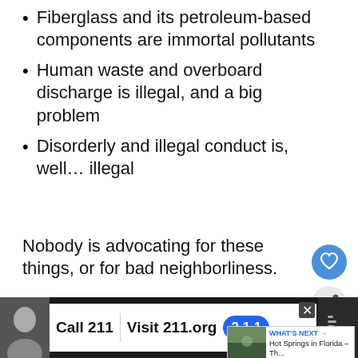Fiberglass and its petroleum-based components are immortal pollutants
Human waste and overboard discharge is illegal, and a big problem
Disorderly and illegal conduct is, well… illegal
Nobody is advocating for these things, or for bad neighborliness.
Florida Elite: Not in My Back Yard
[Figure (photo): Partial photo strip of waterfront/boats scene]
[Figure (infographic): Advertisement bar: Call 211 | Visit 211.org with 2-1-1 badge]